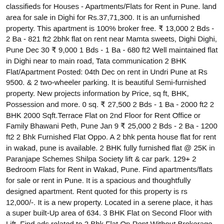classifieds for Houses - Apartments/Flats for Rent in Pune. land area for sale in Dighi for Rs.37,71,300. It is an unfurnished property. This apartment is 100% broker free. ₹ 13,000 2 Bds - 2 Ba - 821 ft2 2bhk flat on rent near Mamta sweets, Dighi Dighi, Pune Dec 30 ₹ 9,000 1 Bds - 1 Ba - 680 ft2 Well maintained flat in Dighi near to main road, Tata communication 2 BHK Flat/Apartment Posted: 04th Dec on rent in Undri Pune at Rs 9500. & 2 two-wheeler parking. It is beautiful Semi-furnished property. New projects information by Price, sq ft, BHK, Possession and more. 0 sq. ₹ 27,500 2 Bds - 1 Ba - 2000 ft2 2 BHK 2000 Sqft.Terrace Flat on 2nd Floor for Rent Office or Family Bhawani Peth, Pune Jan 9 ₹ 25,000 2 Bds - 2 Ba - 1200 ft2 2 Bhk Furnished Flat Oppo. A 2 bhk penta house flat for rent in wakad, pune is available. 2 BHK fully furnished flat @ 25K in Paranjape Schemes Shilpa Society lift & car park. 129+ 2 Bedroom Flats for Rent in Wakad, Pune. Find apartments/flats for sale or rent in Pune. It is a spacious and thoughtfully designed apartment. Rent quoted for this property is rs 12,000/-. It is a new property. Located in a serene place, it has a super built-Up area of 634. 3 BHK Flat on Second Floor with Lift. Find ads related to 2 Bhk Flat On Rent Without Brokerage in Pune. Search, buy, sell, rent, lease, residential and commercial properties in Pune Maharashtra and all over India on PropertyWala.com. No Broker Apartments. Pune rental flats - Search Pune 2 BHK Apartments, Flats on rent in Pune without brokerage, 2 BHK Flat in Pune and Apartment in Pune on Bharatestates.com The property has an amazing location and is fully furnished. ft Apartment for rent in Balewadi,